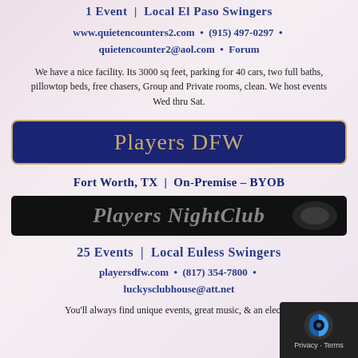1 Event  |  Local El Paso Swingers
www.quietencounters2.com  •  (915) 497-0297  •  quietencounter2@aol.com  •  Forum
We have a nice facility. Its 3000 sq feet, parking for 40 cars, two full baths, pillowtop beds, free chasers, Group and Private rooms, clean. We host events Wed thru Sat.
Players DFW
Fort Worth, TX  |  On-Premise – BYOB
[Figure (logo): Players NightClub logo on black banner background]
25 Events  |  Local Euless Swingers
playersdfw.com  •  (817) 354-7800  •  luckysclubhouse@att.net
You'll always find unique events, great music, & an electric